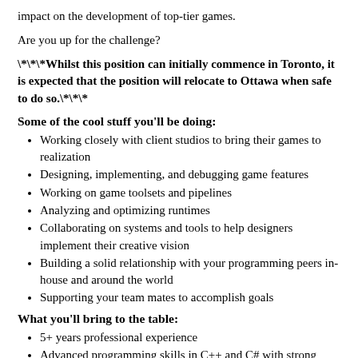impact on the development of top-tier games.
Are you up for the challenge?
\*\*\*Whilst this position can initially commence in Toronto, it is expected that the position will relocate to Ottawa when safe to do so.\*\*\*
Some of the cool stuff you'll be doing:
Working closely with client studios to bring their games to realization
Designing, implementing, and debugging game features
Working on game toolsets and pipelines
Analyzing and optimizing runtimes
Collaborating on systems and tools to help designers implement their creative vision
Building a solid relationship with your programming peers in-house and around the world
Supporting your team mates to accomplish goals
What you'll bring to the table:
5+ years professional experience
Advanced programming skills in C++ and C# with strong understanding of the fundamentals